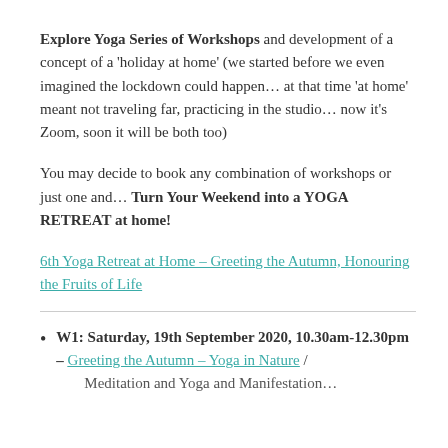Explore Yoga Series of Workshops and development of a concept of a 'holiday at home' (we started before we even imagined the lockdown could happen… at that time 'at home' meant not traveling far, practicing in the studio… now it's Zoom, soon it will be both too)
You may decide to book any combination of workshops or just one and… Turn Your Weekend into a YOGA RETREAT at home!
6th Yoga Retreat at Home – Greeting the Autumn, Honouring the Fruits of Life
W1: Saturday, 19th September 2020, 10.30am-12.30pm – Greeting the Autumn – Yoga in Nature / Meditation and Yoga and Manifestation